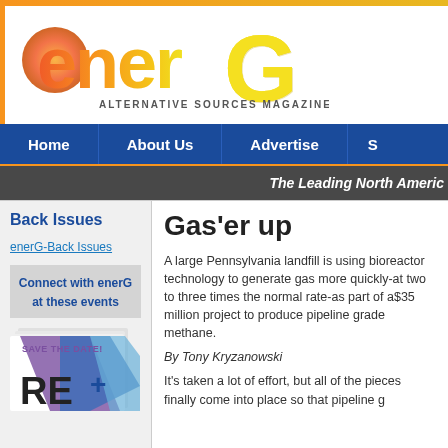[Figure (logo): enerG Alternative Sources Magazine logo with orange and yellow gradient lettering]
ALTERNATIVE SOURCES MAGAZINE
Home | About Us | Advertise | S
The Leading North Americ
Back Issues
enerG-Back Issues
Connect with enerG at these events
[Figure (other): SAVE THE DATE! RE+ event promotional image with colorful diagonal design]
Gas'er up
A large Pennsylvania landfill is using bioreactor technology to generate gas more quickly-at two to three times the normal rate-as part of a$35 million project to produce pipeline grade methane.
By Tony Kryzanowski
It's taken a lot of effort, but all of the pieces finally come into place so that pipeline g